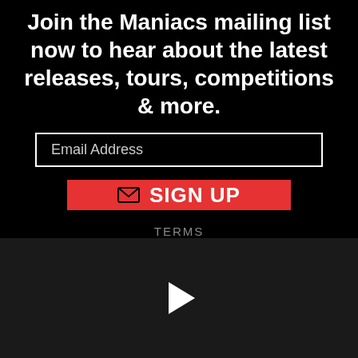Join the Maniacs mailing list now to hear about the latest releases, tours, competitions & more.
Email Address
SIGN UP
TERMS
[Figure (other): Dark video player section with a white play button triangle in the center]